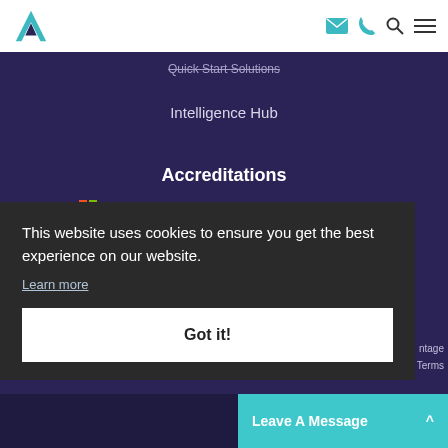Arca (logo) | navigation icons: email, phone, search, menu
Quick Start Solutions
Intelligence Hub
Accreditations
[Figure (logo): Gold Microsoft Partner logo with Microsoft flag icon]
[Figure (logo): Cyber Essentials logo with teal checkmark shield]
This website uses cookies to ensure you get the best experience on our website. Learn more
Got it!
ntage  Terms  Leave A Message ^